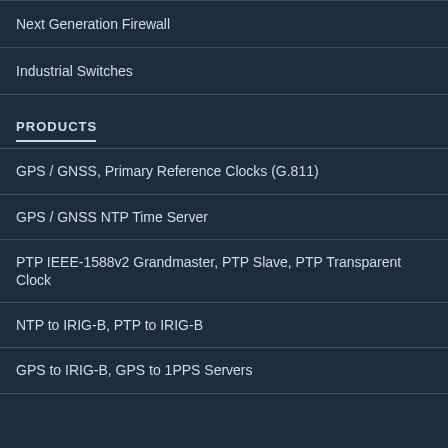Next Generation Firewall
Industrial Switches
PRODUCTS
GPS / GNSS, Primary Reference Clocks (G.811)
GPS / GNSS NTP Time Server
PTP IEEE-1588v2 Grandmaster, PTP Slave, PTP Transparent Clock
NTP to IRIG-B, PTP to IRIG-B
GPS to IRIG-B, GPS to 1PPS Servers